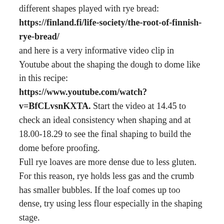different shapes played with rye bread: https://finland.fi/life-society/the-root-of-finnish-rye-bread/ and here is a very informative video clip in Youtube about the shaping the dough to dome like in this recipe: https://www.youtube.com/watch?v=BfCLvsnKXTA. Start the video at 14.45 to check an ideal consistency when shaping and at 18.00-18.29 to see the final shaping to build the dome before proofing.
Full rye loaves are more dense due to less gluten. For this reason, rye holds less gas and the crumb has smaller bubbles. If the loaf comes up too dense, try using less flour especially in the shaping stage.
Reply
LEAVE A COMMENT